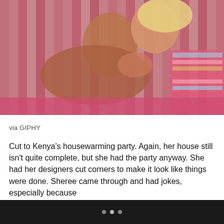[Figure (photo): A blonde woman reclining on a pink sofa/couch with striped pink background and colorful pillows. She appears to be resting or laughing with head tilted back. The scene has warm pink and brown tones.]
via GIPHY
Cut to Kenya’s housewarming party. Again, her house still isn’t quite complete, but she had the party anyway. She had her designers cut corners to make it look like things were done. Sheree came through and had jokes, especially because